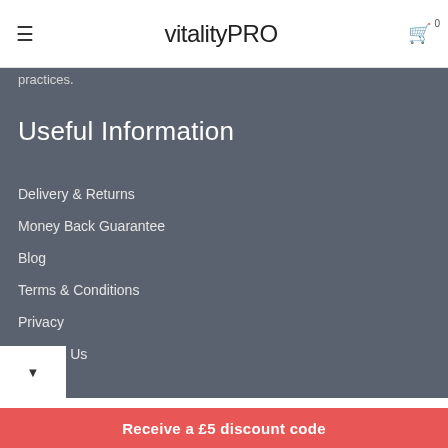vitalityPRO
practices.
Useful Information
Delivery & Returns
Money Back Guarantee
Blog
Terms & Conditions
Privacy
Contact Us
Sign up to the newsletter
Your email address
Receive a £5 discount code